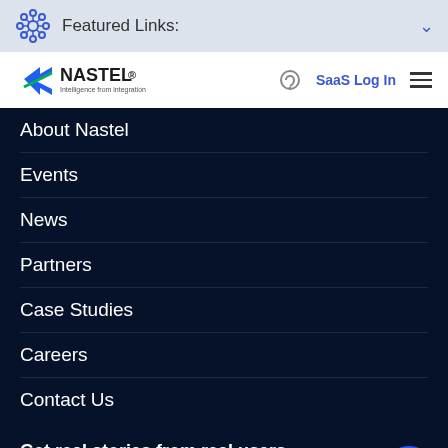Featured Links:
[Figure (logo): Nastel logo with tagline 'Intelligence from integration']
About Nastel
Events
News
Partners
Case Studies
Careers
Contact Us
Get real stories from real users. Every review is an experience that matters.